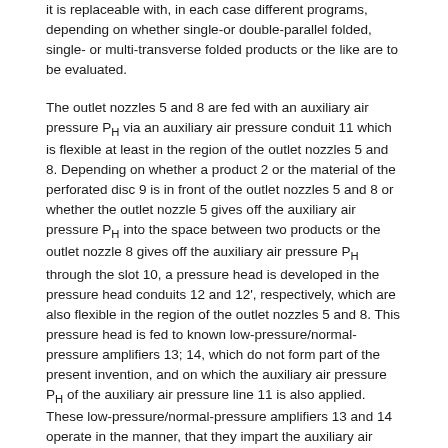it is replaceable with, in each case different programs, depending on whether single-or double-parallel folded, single- or multi-transverse folded products or the like are to be evaluated.
The outlet nozzles 5 and 8 are fed with an auxiliary air pressure P_H via an auxiliary air pressure conduit 11 which is flexible at least in the region of the outlet nozzles 5 and 8. Depending on whether a product 2 or the material of the perforated disc 9 is in front of the outlet nozzles 5 and 8 or whether the outlet nozzle 5 gives off the auxiliary air pressure P_H into the space between two products or the outlet nozzle 8 gives off the auxiliary air pressure P_H through the slot 10, a pressure head is developed in the pressure head conduits 12 and 12', respectively, which are also flexible in the region of the outlet nozzles 5 and 8. This pressure head is fed to known low-pressure/normal-pressure amplifiers 13; 14, which do not form part of the present invention, and on which the auxiliary air pressure P_H of the auxiliary air pressure line 11 is also applied. These low-pressure/normal-pressure amplifiers 13 and 14 operate in the manner, that they impart the auxiliary air pressure P_H only into the air lines 15 and 15', respectively, arranged behind them when the pressure head is fed to them via the pressure-head lines 12 and 12', respectively.
In a double-diaphragm relay 16 which also represents a known logic element, not forming part of the present invention, the pressures prevailing